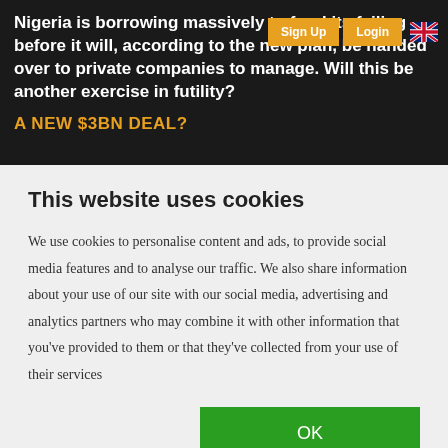Nigeria is borrowing massively to fund its failing electricity infrastructure before it will, according to the new plan, be handed over to private companies to manage. Will this be another exercise in futility?
A NEW $3BN DEAL?
This website uses cookies
We use cookies to personalise content and ads, to provide social media features and to analyse our traffic. We also share information about your use of our site with our social media, advertising and analytics partners who may combine it with other information that you've provided to them or that they've collected from your use of their services